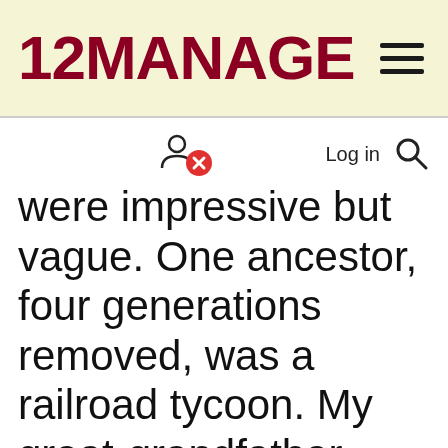12MANAGE
were impressive but vague. One ancestor, four generations removed, was a railroad tycoon. My great-grandfather married into